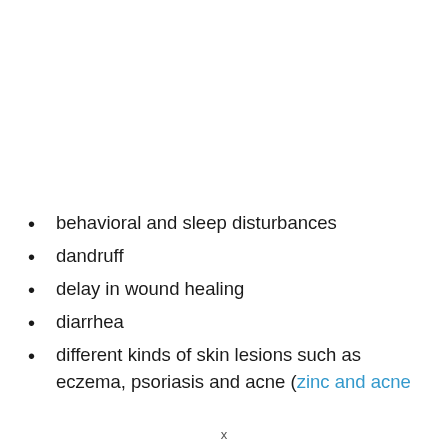behavioral and sleep disturbances
dandruff
delay in wound healing
diarrhea
different kinds of skin lesions such as eczema, psoriasis and acne (zinc and acne
x